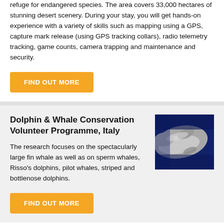refuge for endangered species. The area covers 33,000 hectares of stunning desert scenery. During your stay, you will get hands-on experience with a variety of skills such as mapping using a GPS, capture mark release (using GPS tracking collars), radio telemetry tracking, game counts, camera trapping and maintenance and security.
FIND OUT MORE
Dolphin & Whale Conservation Volunteer Programme, Italy
The research focuses on the spectacularly large fin whale as well as on sperm whales, Risso's dolphins, pilot whales, striped and bottlenose dolphins.
[Figure (photo): Close-up photograph of a dolphin or whale against a deep blue water background, showing the smooth grey skin and fins of the marine mammal.]
FIND OUT MORE